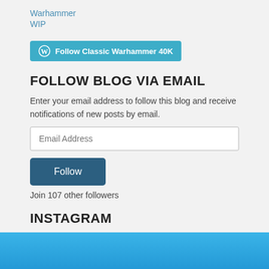Warhammer
WIP
[Figure (other): WordPress Follow button: 'Follow Classic Warhammer 40K' in teal with WordPress logo]
FOLLOW BLOG VIA EMAIL
Enter your email address to follow this blog and receive notifications of new posts by email.
Email Address
Follow
Join 107 other followers
INSTAGRAM
[Figure (photo): Blue/cyan colored Instagram photo thumbnail]